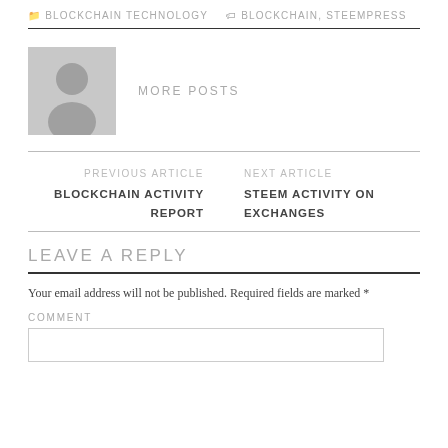BLOCKCHAIN TECHNOLOGY   BLOCKCHAIN, STEEMPRESS
[Figure (illustration): Gray placeholder avatar image with silhouette of a person]
MORE POSTS
PREVIOUS ARTICLE
BLOCKCHAIN ACTIVITY REPORT
NEXT ARTICLE
STEEM ACTIVITY ON EXCHANGES
LEAVE A REPLY
Your email address will not be published. Required fields are marked *
COMMENT